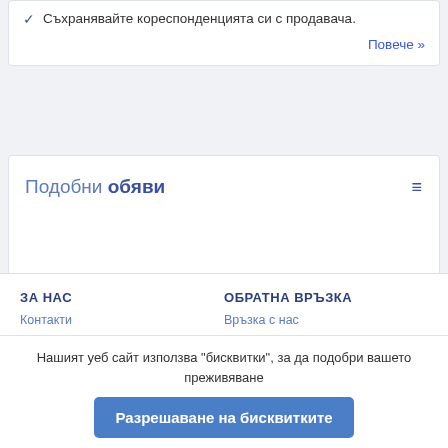✓ Съхранявайте кореспонденцията си с продавача.
Повече »
Подобни обяви
ЗА НАС
ОБРАТНА ВРЪЗКА
Контакти
Връзка с нас
Нашият уеб сайт използва "бисквитки", за да подобри вашето преживяване
Разрешаване на бисквитките